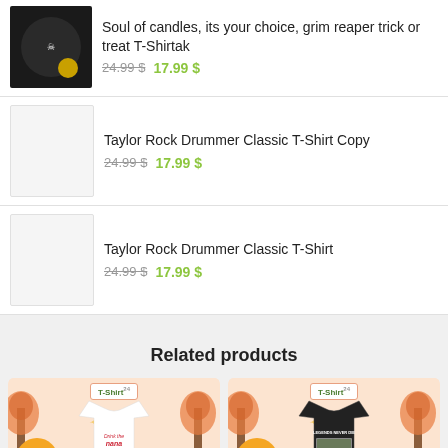Soul of candles, its your choice, grim reaper trick or treat T-Shirtak
24.99 $  17.99 $
Taylor Rock Drummer Classic T-Shirt Copy
24.99 $  17.99 $
Taylor Rock Drummer Classic T-Shirt
24.99 $  17.99 $
Related products
[Figure (photo): Two related product cards side by side on autumn/fall themed background. Left card: white T-shirt with 'Drink the nana Band Lights FUSE' text, T-Shirt badge, -16% discount badge. Right card: black T-shirt with 'Legends Never Die' graphic, T-Shirt badge, -16% discount badge.]